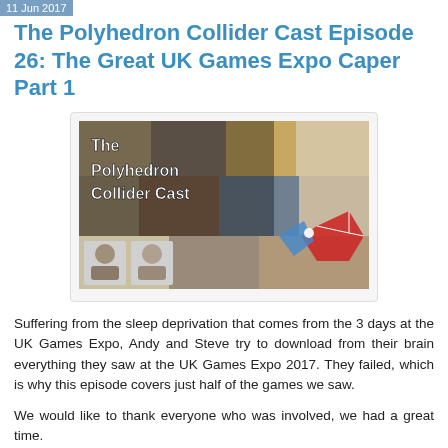11 Jun 2017
The Polyhedron Collider Cast Episode 26: The Great UK Games Expo Caper Part 1
[Figure (photo): The Polyhedron Collider Cast podcast banner image showing board games collage with two host photos and the text 'The Polyhedron Collider Cast' overlaid.]
Suffering from the sleep deprivation that comes from the 3 days at the UK Games Expo, Andy and Steve try to download from their brain everything they saw at the UK Games Expo 2017. They failed, which is why this episode covers just half of the games we saw.
We would like to thank everyone who was involved, we had a great time.